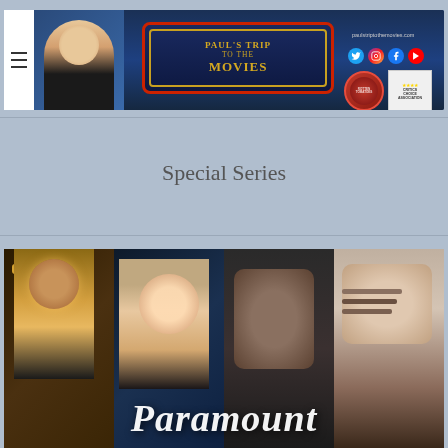[Figure (screenshot): Paul's Trip to the Movies website header banner with a man smiling, movie marquee sign, social media icons, and critic association badges]
Special Series
[Figure (photo): Movie collage showing multiple film scenes including a person wearing a crown, a romantic couple, a man in action, and a man in a suit, with Paramount logo text overlay at the bottom]